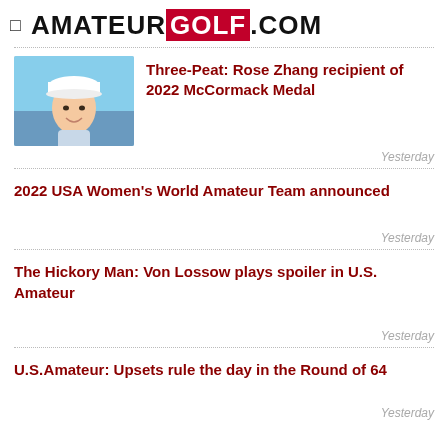AMATEUR GOLF.COM
[Figure (photo): Photo of Rose Zhang wearing a white cap, golfer portrait]
Three-Peat: Rose Zhang recipient of 2022 McCormack Medal
Yesterday
2022 USA Women's World Amateur Team announced
Yesterday
The Hickory Man: Von Lossow plays spoiler in U.S. Amateur
Yesterday
U.S. Amateur: Upsets rule the day in the Round of 64
Yesterday